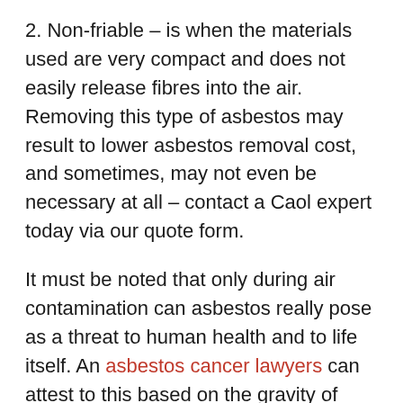2. Non-friable – is when the materials used are very compact and does not easily release fibres into the air. Removing this type of asbestos may result to lower asbestos removal cost, and sometimes, may not even be necessary at all – contact a Caol expert today via our quote form.
It must be noted that only during air contamination can asbestos really pose as a threat to human health and to life itself. An asbestos cancer lawyers can attest to this based on the gravity of victim cases he handles every year. But until the material used is friable, it won't really affect the environment. Furthermore, ceilings usually have several layers of paint applied over them. These layers of paint seal the asbestos, preventing them from becoming airborne. It would be proper not to impact these types of ceilings to keep asbestos intact, which is good because if your worried about money, they can